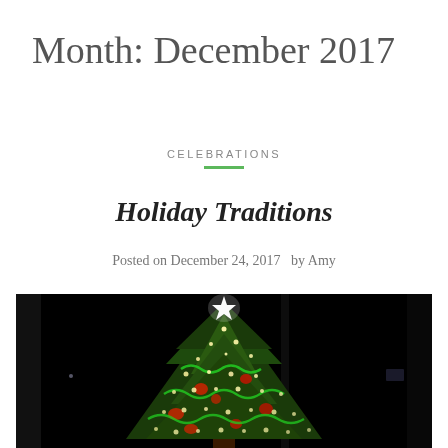Month: December 2017
CELEBRATIONS
Holiday Traditions
Posted on December 24, 2017   by Amy
[Figure (photo): A lit Christmas tree at night with a white star topper, decorated with colorful lights and ornaments against a dark background]